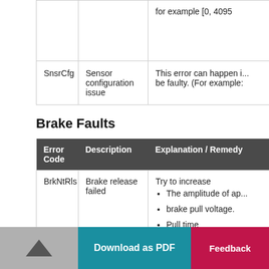| Error Code | Description | Explanation / Remedy |
| --- | --- | --- |
| SnsrCfg | Sensor configuration issue | This error can happen i... be faulty. (For example:... |
Brake Faults
| Error Code | Description | Explanation / Remedy |
| --- | --- | --- |
| BrkNtRls | Brake release failed | Try to increase
• The amplitude of ap...
• brake pull voltage.
• Pull time |
| BkHiPul | ... | ... |